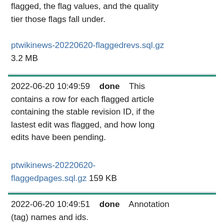flagged, the flag values, and the quality tier those flags fall under.
ptwikinews-20220620-flaggedrevs.sql.gz 3.2 MB
2022-06-20 10:49:59  done  This contains a row for each flagged article containing the stable revision ID, if the lastest edit was flagged, and how long edits have been pending.
ptwikinews-20220620-flaggedpages.sql.gz 159 KB
2022-06-20 10:49:51  done  Annotation (tag) names and ids.